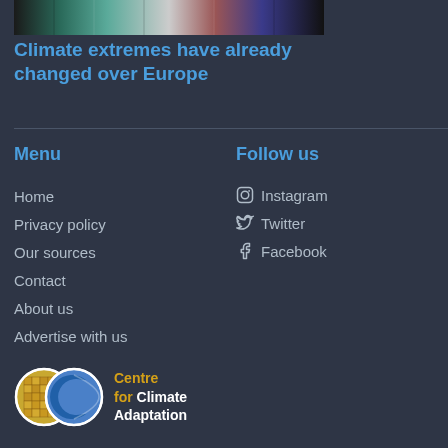[Figure (photo): Partial top image showing colorful artwork/graffiti with dark, teal, and red tones]
Climate extremes have already changed over Europe
Menu
Home
Privacy policy
Our sources
Contact
About us
Advertise with us
Follow us
Instagram
Twitter
Facebook
[Figure (logo): Centre for Climate Adaptation logo — two overlapping circles (mosaic/earth and blue globe) with orange and white text]